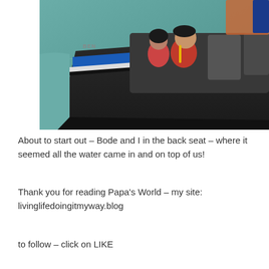[Figure (photo): People in a speedboat/RIB on water, wearing red life jackets, sitting in the back seat of the boat. The boat is dark colored with blue and white stripes. Water is visible alongside the boat.]
About to start out – Bode and I in the back seat – where it seemed all the water came in and on top of us!
Thank you for reading Papa's World – my site: livinglifedoingitmyway.blog
to follow – click on LIKE